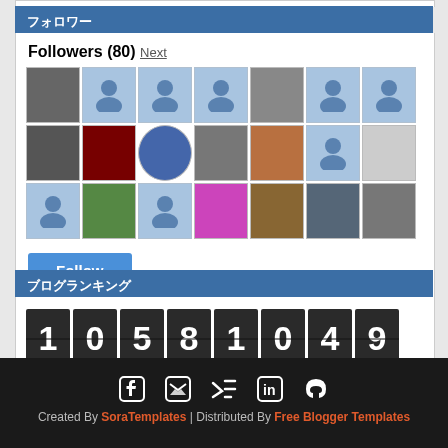フォロワー
Followers (80) Next
[Figure (other): Grid of 21 follower avatar thumbnails, some showing profile photos and others showing default blue user icons]
Follow
ブログランキング
[Figure (other): Flip-clock style counter showing the number 10581049]
Created By SoraTemplates | Distributed By Free Blogger Templates